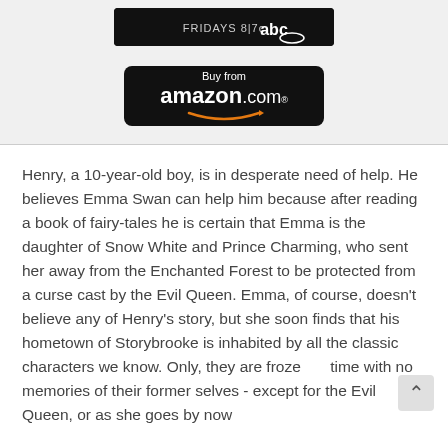[Figure (screenshot): ABC TV network banner showing 'FRIDAYS 8|7c abc' on a dark background]
[Figure (logo): Buy from amazon.com button with orange arrow logo on black background]
Henry, a 10-year-old boy, is in desperate need of help. He believes Emma Swan can help him because after reading a book of fairy-tales he is certain that Emma is the daughter of Snow White and Prince Charming, who sent her away from the Enchanted Forest to be protected from a curse cast by the Evil Queen. Emma, of course, doesn't believe any of Henry's story, but she soon finds that his hometown of Storybrooke is inhabited by all the classic characters we know. Only, they are froze time with no memories of their former selves - except for the Evil Queen, or as she goes by now